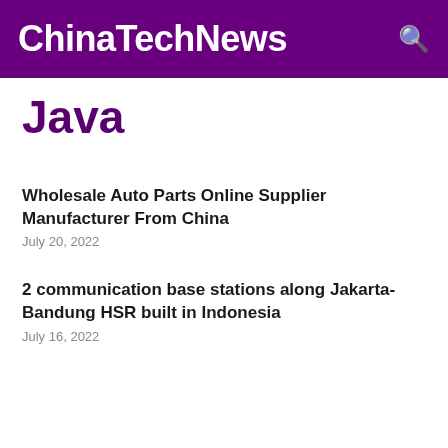ChinaTechNews
Java
Wholesale Auto Parts Online Supplier Manufacturer From China
July 20, 2022
2 communication base stations along Jakarta-Bandung HSR built in Indonesia
July 16, 2022